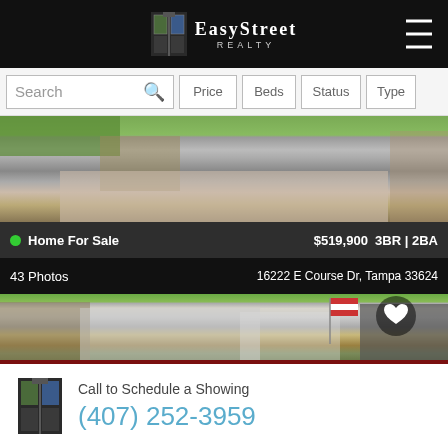[Figure (logo): EasyStreet Realty logo with stylized building icon on black header bar]
[Figure (screenshot): Search bar with Price, Beds, Status, Type filter buttons]
[Figure (photo): Aerial/street view photo of house driveway]
Home For Sale  $519,900  3BR | 2BA
43 Photos  16222 E Course Dr, Tampa 33624
[Figure (photo): Street view photo of house with American flag and heart icon]
Call to Schedule a Showing
(407) 252-3959